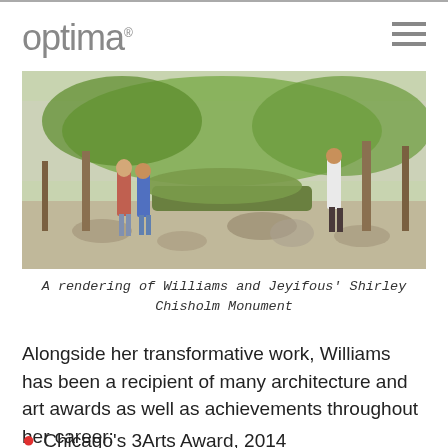optima
[Figure (photo): A rendering of Williams and Jeyifous' Shirley Chisholm Monument — an outdoor urban plaza with people walking, lush green plantings, and tree-lined pathways.]
A rendering of Williams and Jeyifous' Shirley Chisholm Monument
Alongside her transformative work, Williams has been a recipient of many architecture and art awards as well as achievements throughout her career:
Chicago's 3Arts Award, 2014